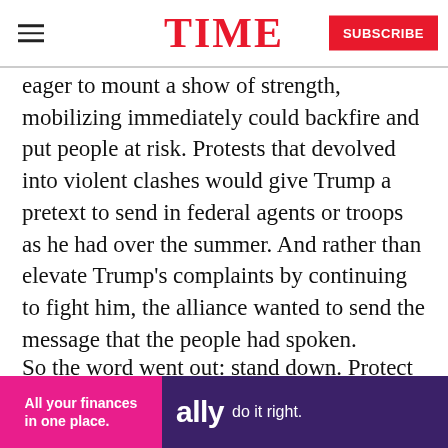TIME
eager to mount a show of strength, mobilizing immediately could backfire and put people at risk. Protests that devolved into violent clashes would give Trump a pretext to send in federal agents or troops as he had over the summer. And rather than elevate Trump’s complaints by continuing to fight him, the alliance wanted to send the message that the people had spoken.
So the word went out: stand down. Protect the Results announced that it would “not be activating the e[mergency response protocols], but...
[Figure (other): Ally Bank advertisement banner: pink left panel reading 'All your finances in one place.' on purple background with 'ally do it right.' text in white]